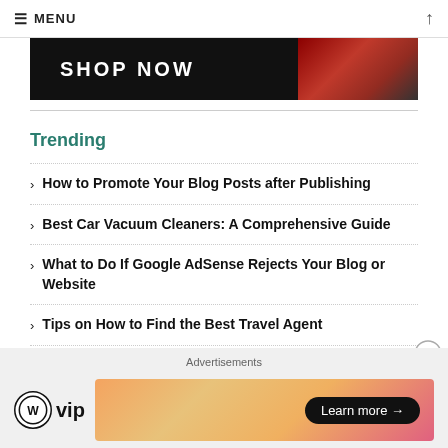MENU
[Figure (photo): Advertisement banner showing SHOP NOW text with a dark red/maroon product image on the right]
Trending
How to Promote Your Blog Posts after Publishing
Best Car Vacuum Cleaners: A Comprehensive Guide
What to Do If Google AdSense Rejects Your Blog or Website
Tips on How to Find the Best Travel Agent
How to Buy Cheap Summer Clothing Online
[Figure (logo): WordPress VIP logo and Learn more advertisement banner with gradient background]